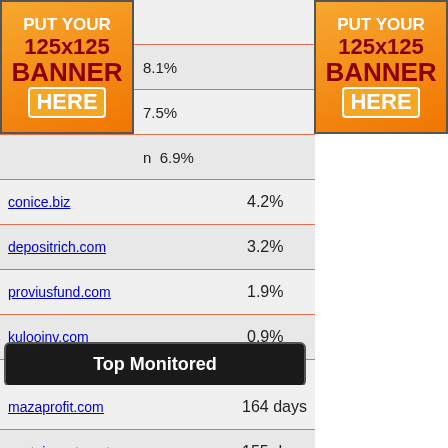[Figure (other): Banner ad: PUT YOUR 125x125 BANNER HERE (left)]
[Figure (other): Banner ad: PUT YOUR 125x125 BANNER HERE (right)]
| Site | Value |
| --- | --- |
|  | 8.1% |
|  | 7.5% |
| n | 6.9% |
| conice.biz | 4.2% |
| depositrich.com | 3.2% |
| proviusfund.com | 1.9% |
| kulooinv.com | 0.9% |
| openplaninvest.com | 0.8% |
Top Monitored
| Site | Days |
| --- | --- |
| mazaprofit.com | 164 days |
| centoinvestment.com | 155 days |